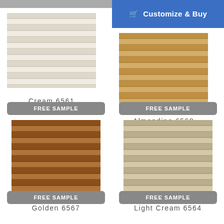[Figure (illustration): Gray top bar on left side]
[Figure (illustration): Blue 'Customize & Buy' button bar on right side]
[Figure (illustration): Cream 6561 honeycomb blind swatch sample]
Cream 6561
[Figure (illustration): Almondine 6568 honeycomb blind swatch sample]
Almondine 6568
[Figure (illustration): Golden 6567 honeycomb blind swatch sample with FREE SAMPLE button]
Golden 6567
[Figure (illustration): Light Cream 6564 honeycomb blind swatch sample with FREE SAMPLE button]
Light Cream 6564
[Figure (illustration): FREE SAMPLE button bottom left]
[Figure (illustration): FREE SAMPLE button bottom right]